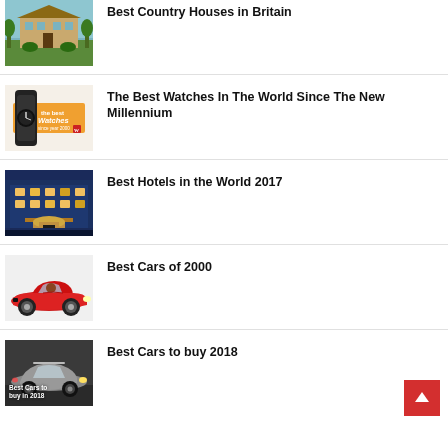Best Country Houses in Britain
The Best Watches In The World Since The New Millennium
Best Hotels in the World 2017
Best Cars of 2000
Best Cars to buy 2018